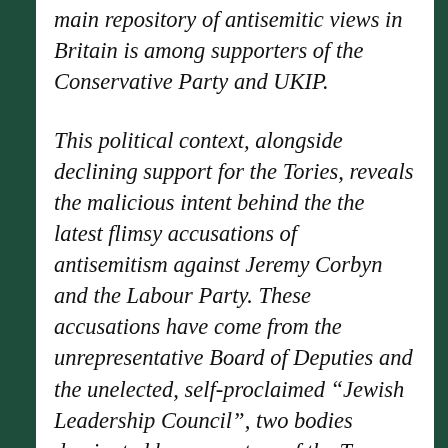main repository of antisemitic views in Britain is among supporters of the Conservative Party and UKIP.
This political context, alongside declining support for the Tories, reveals the malicious intent behind the the latest flimsy accusations of antisemitism against Jeremy Corbyn and the Labour Party. These accusations have come from the unrepresentative Board of Deputies and the unelected, self-proclaimed “Jewish Leadership Council”, two bodies dominated by supporters of the Tory Party.
Between now and the local elections the